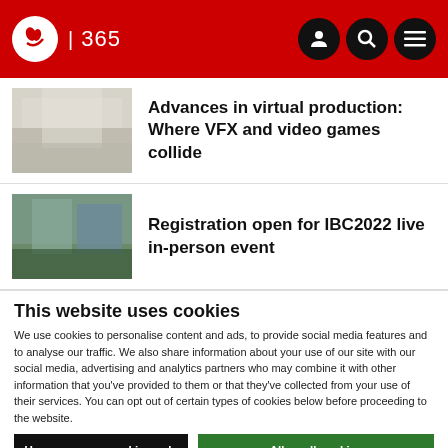IBC 365
[Figure (photo): Interior hallway/lobby with light tones]
Advances in virtual production: Where VFX and video games collide
[Figure (photo): Outdoor building/event venue with crowds]
Registration open for IBC2022 live in-person event
This website uses cookies
We use cookies to personalise content and ads, to provide social media features and to analyse our traffic. We also share information about your use of our site with our social media, advertising and analytics partners who may combine it with other information that you've provided to them or that they've collected from your use of their services. You can opt out of certain types of cookies below before proceeding to the website.
Use necessary cookies only
Allow all cookies
Show details